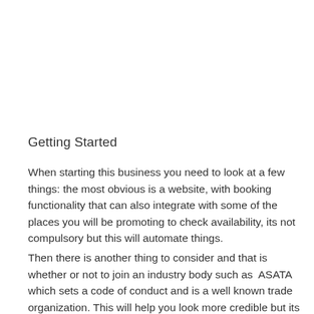Getting Started
When starting this business you need to look at a few things: the most obvious is a website, with booking functionality that can also integrate with some of the places you will be promoting to check availability, its not compulsory but this will automate things.
Then there is another thing to consider and that is whether or not to join an industry body such as  ASATA which sets a code of conduct and is a well known trade organization. This will help you look more credible but its not necessary.